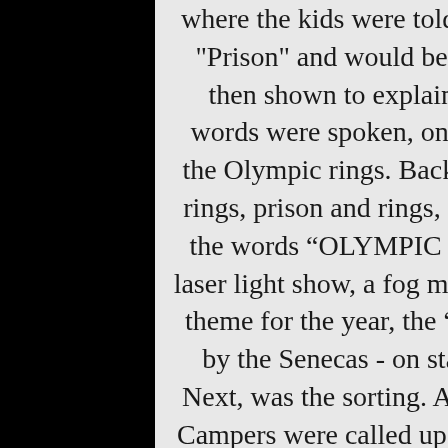where the kids were told they'd been arrested and were now in "Prison" and would be reporting to cell blocks. A video was then shown to explain their prison orientation. But, as the words were spoken, one quick image kept replaying - that of the Olympic rings. Back and forth the video went - prison and rings, prison and rings, until suddenly, the screen flashed with the words “OLYMPIC BREAKOUT”. The field lit up with a laser light show, a fog machine filled the area, and suddenly the theme for the year, the “Games of Future Past” was presented by the Senecas - on stage in red robes with their team flag. Next, was the sorting. Across from the stage were eight doors. Campers were called up in small groups and had to play a mini game, which determined the order in which they got to choose a door. As soon as